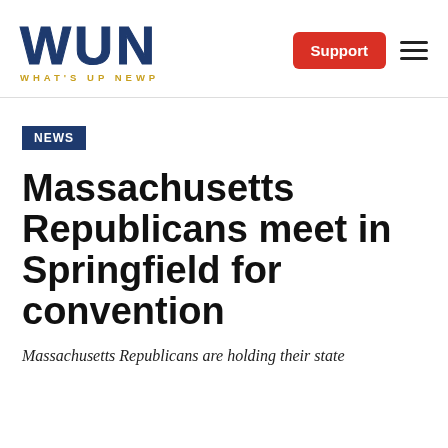[Figure (logo): WUN - What's Up Newp logo with large bold blue WUN text and gold subtitle WHAT'S UP NEWP]
Support | menu
NEWS
Massachusetts Republicans meet in Springfield for convention
Massachusetts Republicans are holding their state convention in Springfield for convention